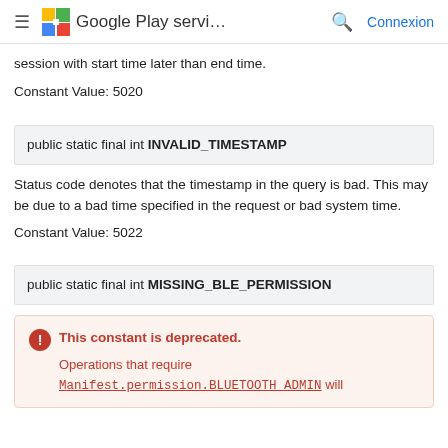Google Play servi... | Connexion
session with start time later than end time.
Constant Value: 5020
public static final int INVALID_TIMESTAMP
Status code denotes that the timestamp in the query is bad. This may be due to a bad time specified in the request or bad system time.
Constant Value: 5022
public static final int MISSING_BLE_PERMISSION
This constant is deprecated. Operations that require Manifest.permission.BLUETOOTH_ADMIN will